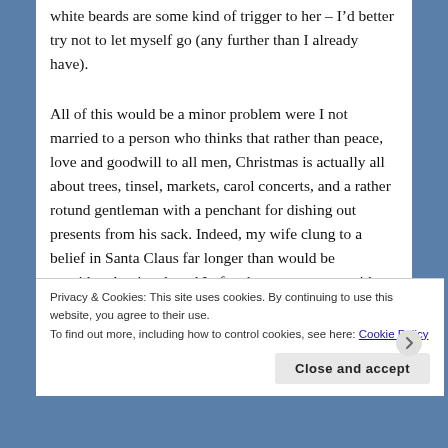white beards are some kind of trigger to her – I'd better try not to let myself go (any further than I already have).
All of this would be a minor problem were I not married to a person who thinks that rather than peace, love and goodwill to all men, Christmas is actually all about trees, tinsel, markets, carol concerts, and a rather rotund gentleman with a penchant for dishing out presents from his sack. Indeed, my wife clung to a belief in Santa Claus far longer than would be considered rational, and I often have arguments with her over the existence or
Privacy & Cookies: This site uses cookies. By continuing to use this website, you agree to their use. To find out more, including how to control cookies, see here: Cookie Policy
Close and accept